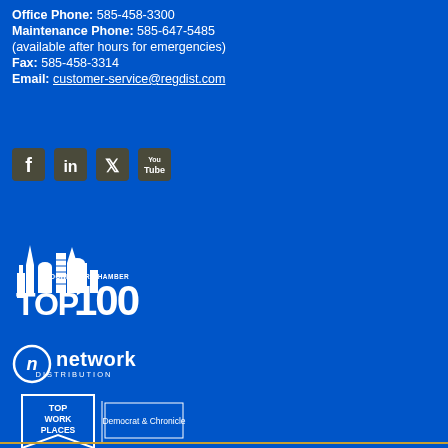Office Phone: 585-458-3300
Maintenance Phone: 585-647-5485
(available after hours for emergencies)
Fax: 585-458-3314
Email: customer-service@regdist.com
[Figure (logo): Social media icons row: Facebook, LinkedIn, Twitter, YouTube]
[Figure (logo): Rochester Chamber Top 100 logo with city skyline]
[Figure (logo): Network Distribution logo with (n) symbol]
[Figure (logo): Top Work Places badge - Democrat & Chronicle]